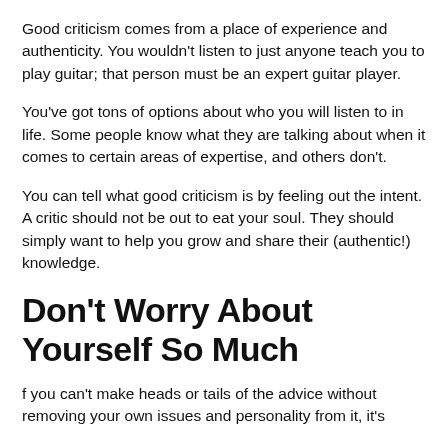Good criticism comes from a place of experience and authenticity. You wouldn't listen to just anyone teach you to play guitar; that person must be an expert guitar player.
You've got tons of options about who you will listen to in life. Some people know what they are talking about when it comes to certain areas of expertise, and others don't.
You can tell what good criticism is by feeling out the intent. A critic should not be out to eat your soul. They should simply want to help you grow and share their (authentic!) knowledge.
Don't Worry About Yourself So Much
f you can't make heads or tails of the advice without removing your own issues and personality from it, it's